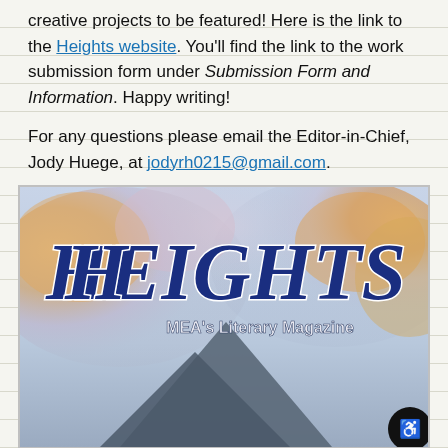creative projects to be featured! Here is the link to the Heights website. You'll find the link to the work submission form under Submission Form and Information. Happy writing!

For any questions please email the Editor-in-Chief, Jody Huege, at jodyrh0215@gmail.com.
[Figure (illustration): Cover of Heights, MEA's Literary Magazine. Features the word HEIGHTS in large dark blue italic serif font against a sky background with warm orange-pink clouds and a mountain silhouette at the bottom. An accessibility icon button appears in the lower right corner.]